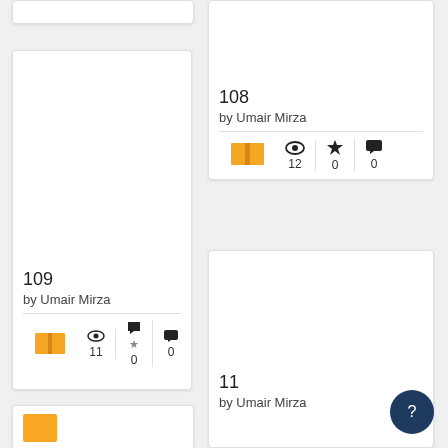[Figure (screenshot): Partial card at top-left, mostly cropped]
109
by Umair Mirza
views: 11, stars: 0, comments: 0
[Figure (screenshot): Partial card at bottom-left, mostly cropped]
108
by Umair Mirza
views: 12, stars: 0, comments: 0
11
by Umair Mirza